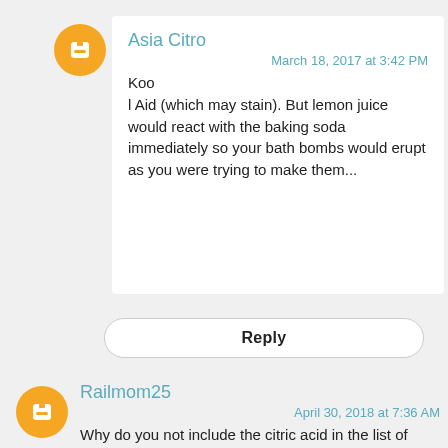[Figure (illustration): Orange Blogger avatar circle with white 'B' icon, for user Asia Citro]
Asia Citro
March 18, 2017 at 3:42 PM
Koo
l Aid (which may stain). But lemon juice would react with the baking soda immediately so your bath bombs would erupt as you were trying to make them...
Reply
[Figure (illustration): Orange Blogger avatar circle with white 'B' icon, for user Railmom25]
Railmom25
April 30, 2018 at 7:36 AM
Why do you not include the citric acid in the list of ingredients you will need? Grandson was